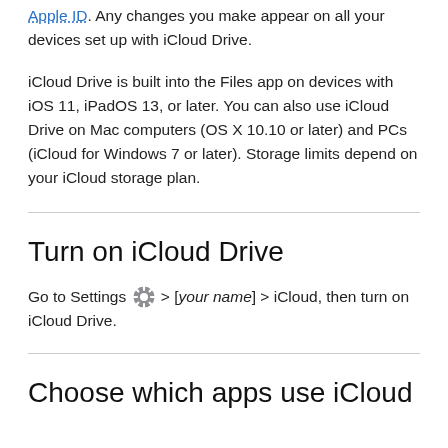Apple ID. Any changes you make appear on all your devices set up with iCloud Drive.
iCloud Drive is built into the Files app on devices with iOS 11, iPadOS 13, or later. You can also use iCloud Drive on Mac computers (OS X 10.10 or later) and PCs (iCloud for Windows 7 or later). Storage limits depend on your iCloud storage plan.
Turn on iCloud Drive
Go to Settings [gear icon] > [your name] > iCloud, then turn on iCloud Drive.
Choose which apps use iCloud